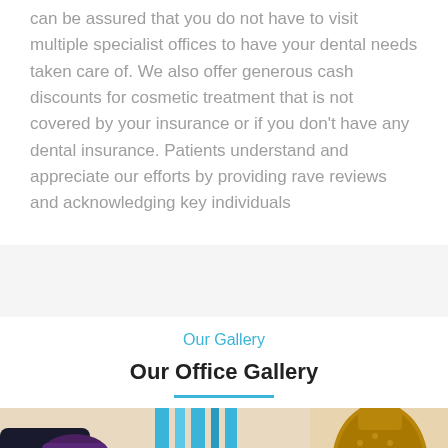can be assured that you do not have to visit multiple specialist offices to have your dental needs taken care of. We also offer generous cash discounts for cosmetic treatment that is not covered by your insurance or if you don't have any dental insurance. Patients understand and appreciate our efforts by providing rave reviews and acknowledging key individuals
Our Gallery
Our Office Gallery
[Figure (photo): Interior photo of a dental office waiting area showing dark chairs, purple cushions, blue vertical panels/curtains, and a decorative gold/bronze textured vase on the right side against a beige wall.]